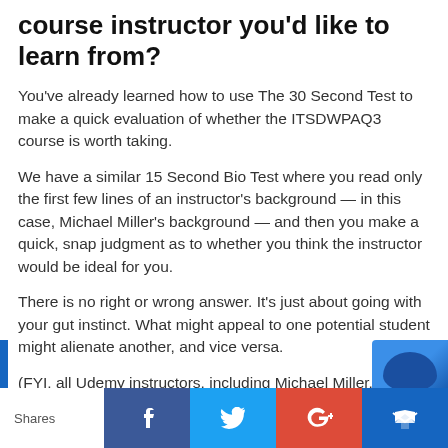course instructor you'd like to learn from?
You've already learned how to use The 30 Second Test to make a quick evaluation of whether the ITSDWPAQ3 course is worth taking.
We have a similar 15 Second Bio Test where you read only the first few lines of an instructor's background — in this case, Michael Miller's background — and then you make a quick, snap judgment as to whether you think the instructor would be ideal for you.
There is no right or wrong answer. It's just about going with your gut instinct. What might appeal to one potential student might alienate another, and vice versa.
(FYI, all Udemy instructors, including Michael Miller, have a Udemy profile on their course page, so you can ea
Shares | Facebook | Twitter | Google+ | Crown